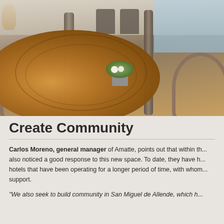[Figure (photo): Interior courtyard of a hotel or restaurant with wicker chairs, large wooden columns, a round wooden live-edge table with a flower arrangement, and a pool visible in the background. Warm, neutral tones.]
Create Community
Carlos Moreno, general manager of Amatte, points out that within th... also noticed a good response to this new space. To date, they have h... hotels that have been operating for a longer period of time, with whom... support.
"We also seek to build community in San Miguel de Allende, which h...